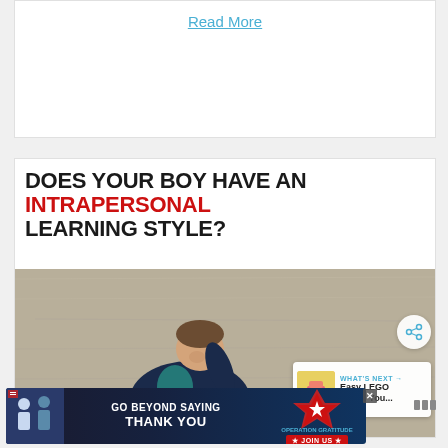Read More
[Figure (photo): Article card showing headline 'DOES YOUR BOY HAVE AN INTRAPERSONAL LEARNING STYLE?' with a photo of a young boy hunched over, looking down, sitting on pavement.]
WHAT'S NEXT → Easy LEGO Cakes You...
[Figure (infographic): Advertisement banner: GO BEYOND SAYING THANK YOU — OPERATION GRATITUDE — JOIN US]